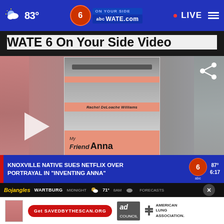83° WATE.com LIVE
WATE 6 On Your Side Video
[Figure (screenshot): Video thumbnail showing book cover 'My Friend Anna' by Rachel DeLoache Williams, with blurred background. Contains play button, share icon, lower ticker bar reading 'KNOXVILLE NATIVE SUES NETFLIX OVER PORTRAYAL IN "INVENTING ANNA"', weather strip showing Wartburg 71°, and an ad bar for savedbythescan.org / American Lung Association.]
KNOXVILLE NATIVE SUES NETFLIX OVER PORTRAYAL IN "INVENTING ANNA"
Get SAVEDBYTHESCAN.ORG
AMERICAN LUNG ASSOCIATION.